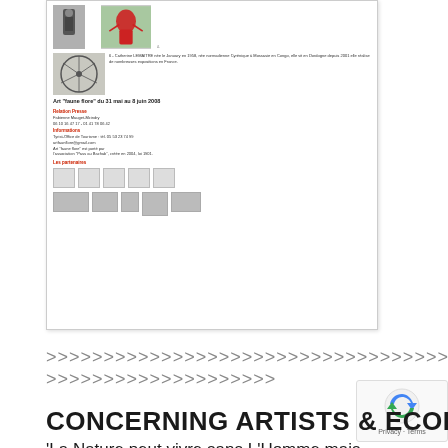[Figure (screenshot): A scanned or screenshot document page showing an art exhibition titled 'Art faune flore' du 31 mai au 8 juin 2008. Contains images of artworks (a dark sculpture, a red figure among trees, a wire wheel sculpture), caption text about Catherine Lemaitre, press relations contact info, and partner logos.]
>>>>>>>>>>>>>>>>>>>>>>>>>>>>>>>>>>>>>>>>
>>>>>>>>>>>>>>>>>>>>
CONCERNING ARTISTS & ECOLOGY
'La Nature peut vivre sans L'Homme mais